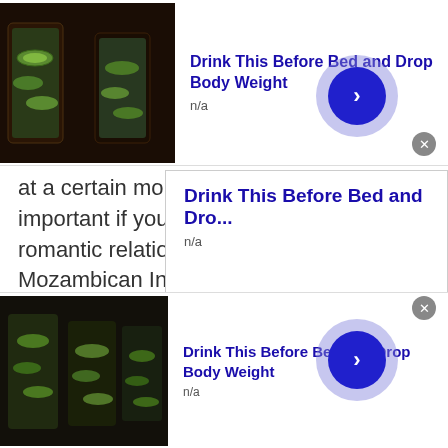[Figure (screenshot): Top ad banner showing drink image with cucumber water and bold blue title 'Drink This Before Bed and Drop Body Weight', subtitle 'n/a', arrow button and close button]
at a certain moment. This is especially important if you are aiming to establish a romantic relationship through Mozambican International Chat .
[Figure (screenshot): Embedded ad card with bold blue title 'Drink This Before Bed and Dro...' and subtitle 'n/a', showing cucumber water image and navigation arrows]
[Figure (screenshot): Bottom ad banner showing drink image with cucumber water and bold blue title 'Drink This Before Bed and Drop Body Weight', subtitle 'n/a', arrow button and close button]